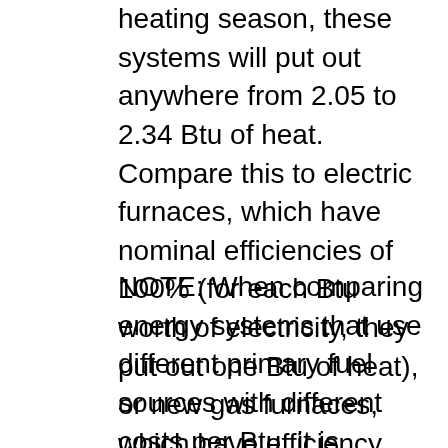heating season, these systems will put out anywhere from 2.05 to 2.34 Btu of heat. Compare this to electric furnaces, which have nominal efficiencies of 100% (for each Btu worth of electricity, they put out one Btu of heat), or new gas furnaces, which have efficiency ratings of about 80% to 97% (for each Btu worth of gas, they put out 0.8 to 0.97 Btu of heat).
NOTE: When comparing energy systems that use different primary fuel sources with different costs per Btu, it is important that you understand that higher operating efficiency is not necessarily equivalent to a better operating economy. Although an electric heat pump might work with greater efficiency than a gas furnace, it won't necessarily be more economical to run due to the pricing difference between the two fuel